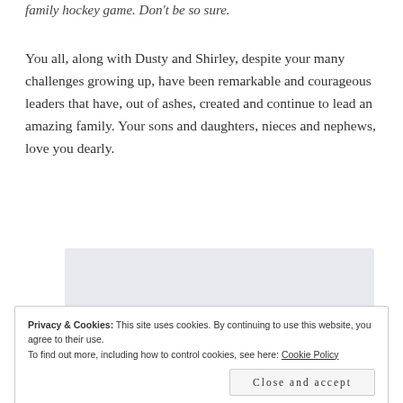family hockey game. Don't be so sure.
You all, along with Dusty and Shirley, despite your many challenges growing up, have been remarkable and courageous leaders that have, out of ashes, created and continue to lead an amazing family. Your sons and daughters, nieces and nephews, love you dearly.
[Figure (screenshot): WordPress app promotion banner showing 'the go.' text and GET THE APP call to action with WordPress logo]
Privacy & Cookies: This site uses cookies. By continuing to use this website, you agree to their use. To find out more, including how to control cookies, see here: Cookie Policy
Close and accept